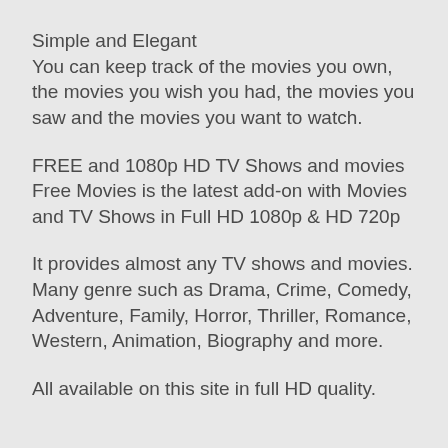Simple and Elegant
You can keep track of the movies you own, the movies you wish you had, the movies you saw and the movies you want to watch.
FREE and 1080p HD TV Shows and movies
Free Movies is the latest add-on with Movies and TV Shows in Full HD 1080p & HD 720p
It provides almost any TV shows and movies. Many genre such as Drama, Crime, Comedy, Adventure, Family, Horror, Thriller, Romance, Western, Animation, Biography and more.
All available on this site in full HD quality.